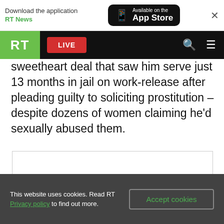[Figure (screenshot): App download banner with RT News branding and App Store button]
[Figure (screenshot): RT website navigation bar with green RT logo, red LIVE button, search and menu icons]
sweetheart deal that saw him serve just 13 months in jail on work-release after pleading guilty to soliciting prostitution – despite dozens of women claiming he'd sexually abused them.
[Figure (other): Empty advertisement or image placeholder box]
This website uses cookies. Read RT Privacy policy to find out more.